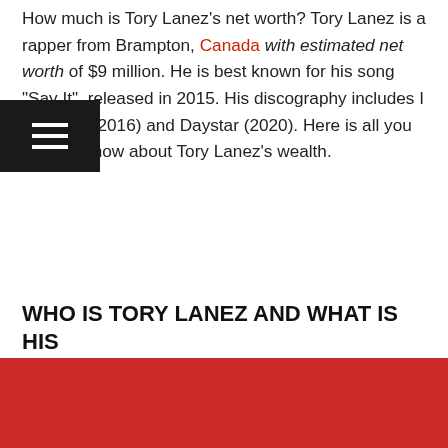How much is Tory Lanez's net worth? Tory Lanez is a rapper from Brampton, Canada with estimated net worth of $9 million. He is best known for his song "Say It", released in 2015. His discography includes I Told You (2016) and Daystar (2020). Here is all you need to know about Tory Lanez's wealth.
WHO IS TORY LANEZ AND WHAT IS HIS NET WORTH?
Tory Lanez Net Worth: $8 Million
In Euro: €6.73 million
In British Pound: £6.05 million